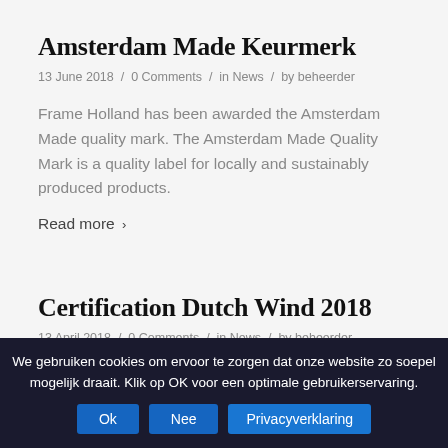Amsterdam Made Keurmerk
13 June 2018 / 0 Comments / in News / by beheerder
Frame Holland has been awarded the Amsterdam Made quality mark. The Amsterdam Made Quality Mark is a quality label for locally and sustainably produced products.
Read more ›
Certification Dutch Wind 2018
13 April 2018 / 0 Comments / in News / by beheerder
We gebruiken cookies om ervoor te zorgen dat onze website zo soepel mogelijk draait. Klik op OK voor een optimale gebruikerservaring.